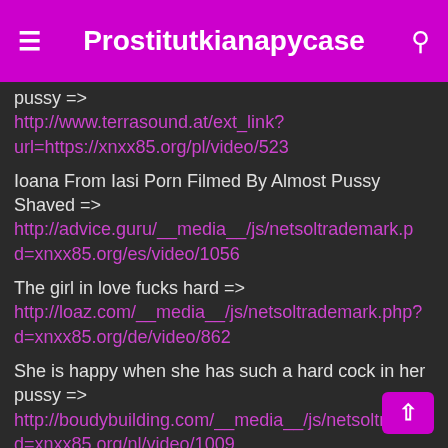Prostitutkianapycase
pussy => http://www.terrasound.at/ext_link?url=https://xnxx85.org/pl/video/523
Ioana From Iasi Porn Filmed By Almost Pussy Shaved => http://advice.guru/__media__/js/netsoltrademark.php?d=xnxx85.org/es/video/1056
The girl in love fucks hard => http://loaz.com/__media__/js/netsoltrademark.php?d=xnxx85.org/de/video/862
She is happy when she has such a hard cock in her pussy => http://boudybuilding.com/__media__/js/netsoltrademark.php?d=xnxx85.org/nl/video/1009
Black fucks on a white and red pussy => http://irsmusic.com/__media__/js/netsoltrademark.php?d=xnxx85.org/video/1253